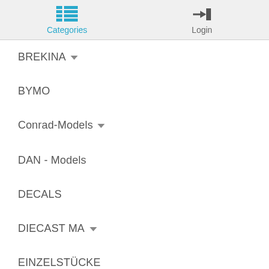Categories  Login
BREKINA
BYMO
Conrad-Models
DAN - Models
DECALS
DIECAST MA
EINZELSTÜCKE
EMEK